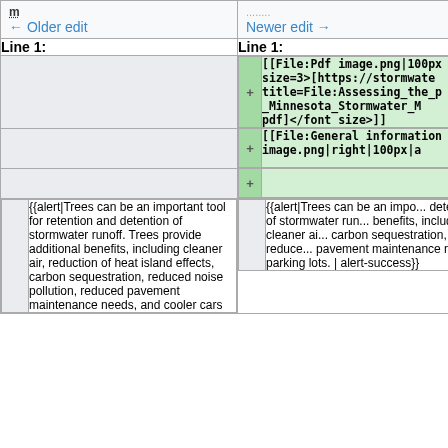| ← Older edit | Newer edit → |
| --- | --- |
| Line 1: | Line 1: |
| (empty) | [[File:Pdf image.png|100px... size=3>[https://stormwater... title=File:Assessing_the_p..._Minnesota_Stormwater_M... pdf]</font size>]] |
| (empty) | [[File:General information... image.png|right|100px|a... |
| (empty) | (empty added row) |
| {{alert|Trees can be an important tool for retention and detention of stormwater runoff. Trees provide additional benefits, including cleaner air, reduction of heat island effects, carbon sequestration, reduced noise pollution, reduced pavement maintenance needs, and cooler cars | {{alert|Trees can be an impo... detention of stormwater run... benefits, including cleaner ai... carbon sequestration, reduce... pavement maintenance nee... parking lots. | alert-success}} |